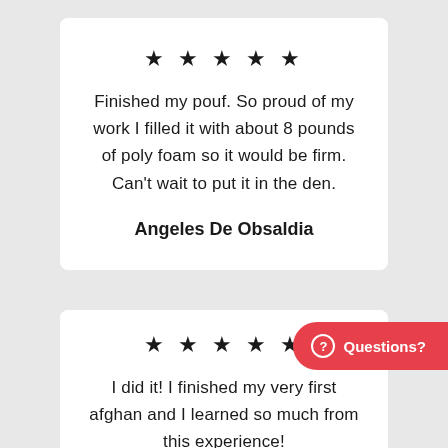[Figure (other): Five black stars rating]
Finished my pouf. So proud of my work I filled it with about 8 pounds of poly foam so it would be firm. Can't wait to put it in the den.
Angeles De Obsaldia
[Figure (other): Five black stars rating (second review)]
I did it! I finished my very first afghan and I learned so much from this experience!